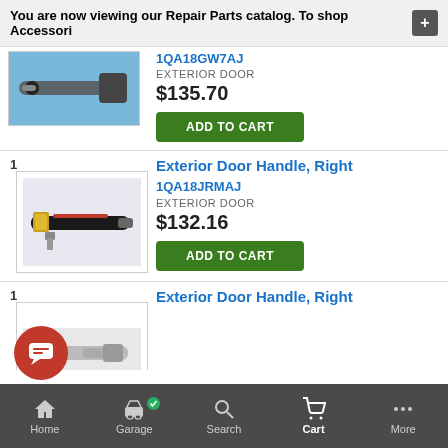You are now viewing our Repair Parts catalog. To shop Accessori
[Figure (photo): Exterior door handle part on blue background]
1QA18GW7AJ
EXTERIOR DOOR
$135.70
ADD TO CART
Exterior Door Handle, Right
[Figure (photo): Exterior door handle part with red and gold details on white background]
1QA18JRMAJ
EXTERIOR DOOR
$132.16
ADD TO CART
Exterior Door Handle, Right
[Figure (photo): Exterior door handle part, partially visible]
Home  Garage  Search  Cart  More